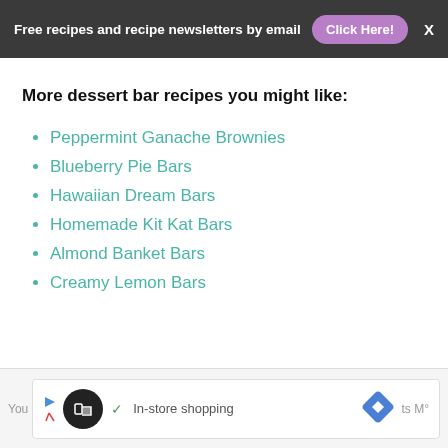Free recipes and recipe newsletters by email  Click Here!  X
More dessert bar recipes you might like:
Peppermint Ganache Brownies
Blueberry Pie Bars
Hawaiian Dream Bars
Homemade Kit Kat Bars
Almond Banket Bars
Creamy Lemon Bars
[Figure (screenshot): Advertisement banner showing a circular black logo, checkmark icon, text 'In-store shopping', a blue navigation diamond icon, and 'M°' brand text.]